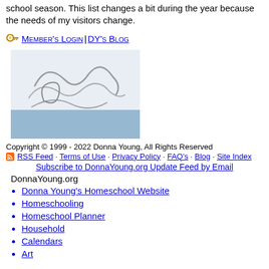school season. This list changes a bit during the year because the needs of my visitors change.
🔑 Member's Login | DY's Blog
[Figure (illustration): Donna Young signature image on blue-grey background]
Copyright © 1999 - 2022 Donna Young, All Rights Reserved
RSS Feed · Terms of Use · Privacy Policy · FAQ's · Blog · Site Index
Subscribe to DonnaYoung.org Update Feed by Email
DonnaYoung.org
Donna Young's Homeschool Website
Homeschooling
Homeschool Planner
Household
Calendars
Art